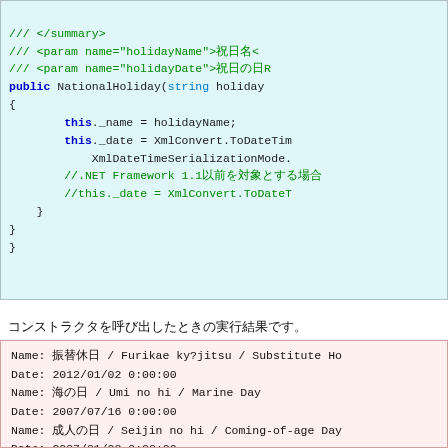[Figure (screenshot): Code snippet in C# showing constructor for NationalHoliday class with XML comments and body assigning _name and _date fields. Displayed on light cyan background.]
コンストラクタを呼び出したときの実行結果です。
[Figure (screenshot): Program output showing Name and Date pairs for Japanese holidays: Furikae kyūjitsu / Substitute Holiday (2012/01/02), Umi no hi / Marine Day (2007/07/16), Seijin no hi / Coming-of-age Day (truncated).]